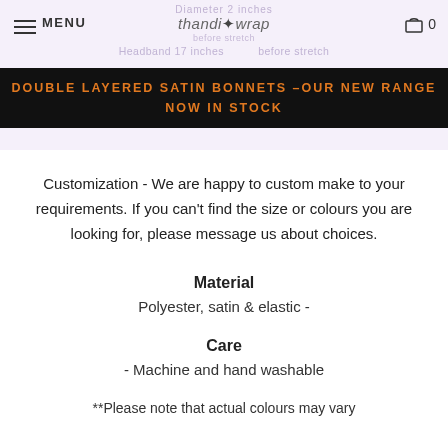MENU | thandi wrap | 0
Headband 17 inches before stretch
DOUBLE LAYERED SATIN BONNETS –OUR NEW RANGE NOW IN STOCK
Customization - We are happy to custom make to your requirements. If you can't find the size or colours you are looking for, please message us about choices.
Material
Polyester, satin & elastic -
Care
- Machine and hand washable
**Please note that actual colours may vary